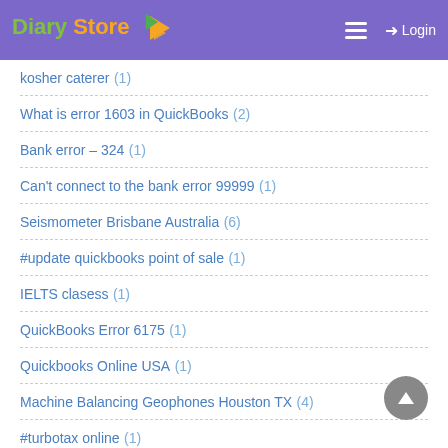Diary Store — Login
kosher caterer (1)
What is error 1603 in QuickBooks (2)
Bank error – 324 (1)
Can't connect to the bank error 99999 (1)
Seismometer Brisbane Australia (6)
#update quickbooks point of sale (1)
IELTS clasess (1)
QuickBooks Error 6175 (1)
Quickbooks Online USA (1)
Machine Balancing Geophones Houston TX (4)
#turbotax online (1)
How to fix QuickBooks Error 15106 (1)
How to unfreeze QuickBooks (1)